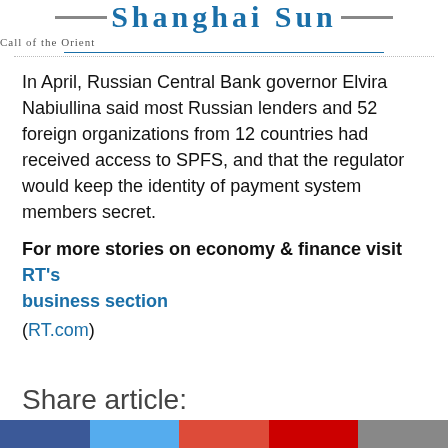Shanghai Sun — Call of the Orient
In April, Russian Central Bank governor Elvira Nabiullina said most Russian lenders and 52 foreign organizations from 12 countries had received access to SPFS, and that the regulator would keep the identity of payment system members secret.
For more stories on economy & finance visit RT's business section
(RT.com)
Share article: